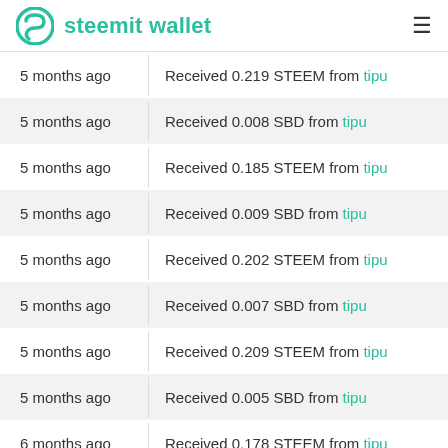steemit wallet
5 months ago — Received 0.219 STEEM from tipu
5 months ago — Received 0.008 SBD from tipu
5 months ago — Received 0.185 STEEM from tipu
5 months ago — Received 0.009 SBD from tipu
5 months ago — Received 0.202 STEEM from tipu
5 months ago — Received 0.007 SBD from tipu
5 months ago — Received 0.209 STEEM from tipu
5 months ago — Received 0.005 SBD from tipu
6 months ago — Received 0.178 STEEM from tipu